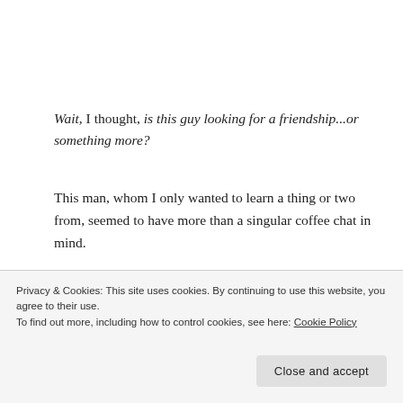Wait, I thought, is this guy looking for a friendship...or something more?
This man, whom I only wanted to learn a thing or two from, seemed to have more than a singular coffee chat in mind.
— — — —
I o... (partial, cut off)
Privacy & Cookies: This site uses cookies. By continuing to use this website, you agree to their use. To find out more, including how to control cookies, see here: Cookie Policy